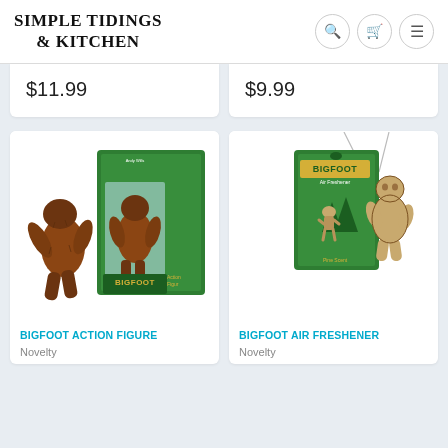SIMPLE TIDINGS & KITCHEN
$11.99
$9.99
[Figure (photo): Bigfoot Action Figure product photo showing a brown Bigfoot figurine and its green retail box labeled 'BIGFOOT Action Figure']
BIGFOOT ACTION FIGURE
Novelty
[Figure (photo): Bigfoot Air Freshener product photo showing a cardboard Bigfoot-shaped air freshener hanging on a string next to its green retail card labeled 'BIGFOOT']
BIGFOOT AIR FRESHENER
Novelty